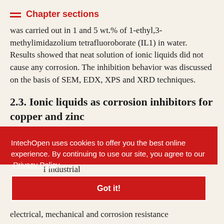Chapter sections
was carried out in 1 and 5 wt.% of 1-ethyl,3-methylimidazolium tetrafluoroborate (IL1) in water. Results showed that neat solution of ionic liquids did not cause any corrosion. The inhibition behavior was discussed on the basis of SEM, EDX, XPS and XRD techniques.
2.3. Ionic liquids as corrosion inhibitors for copper and zinc
IntechOpen uses cookies to offer you the best online experience. By continuing to use our site, you agree to our Privacy Policy
Got it!
...vely ...ications such ...ectronics, ...f industrial ...thermal, electrical, mechanical and corrosion resistance